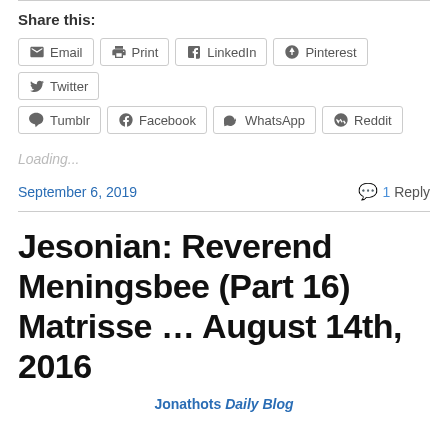Share this:
Email
Print
LinkedIn
Pinterest
Twitter
Tumblr
Facebook
WhatsApp
Reddit
Loading...
September 6, 2019
1 Reply
Jesonian: Reverend Meningsbee (Part 16) Matrisse … August 14th, 2016
Jonathots Daily Blog